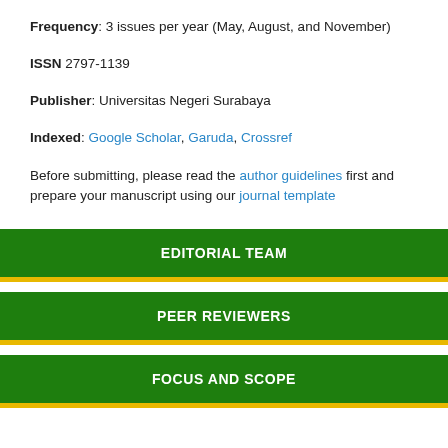Frequency: 3 issues per year (May, August, and November)
ISSN 2797-1139
Publisher: Universitas Negeri Surabaya
Indexed: Google Scholar, Garuda, Crossref
Before submitting, please read the author guidelines first and prepare your manuscript using our journal template
EDITORIAL TEAM
PEER REVIEWERS
FOCUS AND SCOPE